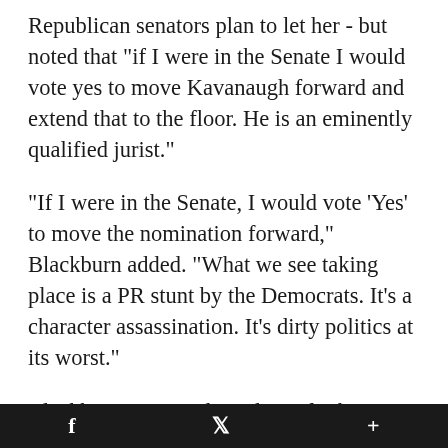Republican senators plan to let her - but noted that "if I were in the Senate I would vote yes to move Kavanaugh forward and extend that to the floor. He is an eminently qualified jurist."
"If I were in the Senate, I would vote 'Yes' to move the nomination forward," Blackburn added. "What we see taking place is a PR stunt by the Democrats. It's a character assassination. It's dirty politics at its worst."
Blackburn criticized Bredesen for his own handling of sexual harassment issues while he was governor, saying reported instances
f   𝕏   +